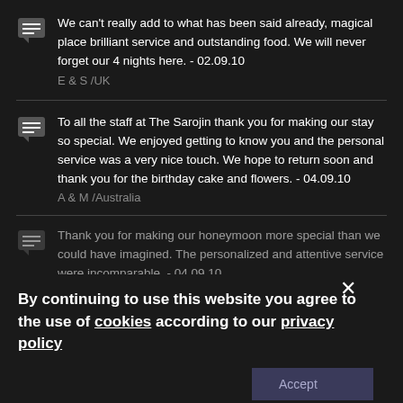We can't really add to what has been said already, magical place brilliant service and outstanding food. We will never forget our 4 nights here. - 02.09.10
E & S /UK
To all the staff at The Sarojin thank you for making our stay so special. We enjoyed getting to know you and the personal service was a very nice touch. We hope to return soon and thank you for the birthday cake and flowers. - 04.09.10
A & M /Australia
Thank you for making our honeymoon more special than we could have imagined. The personalized and attentive service were incomparable. - 04.09.10
R & M /India
By continuing to use this website you agree to the use of cookies according to our privacy policy
To The Sarojin staff thanks so much for the wonderful